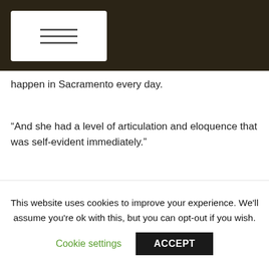≡
happen in Sacramento every day.
“And she had a level of articulation and eloquence that was self-evident immediately.”
Some of those issues, which Keyawa-Musselman said will continue to be a priority for WAPA under her leadership, include water and worker safety of course, and in general working with the WAPA staff to be sure legislation is grounded in real-world implications for implementation on working farmers and processors.
This website uses cookies to improve your experience. We'll assume you're ok with this, but you can opt-out if you wish.
Cookie settings
ACCEPT